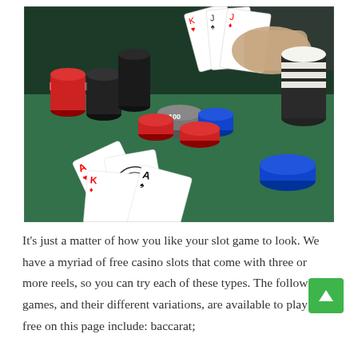[Figure (photo): Casino table scene showing playing cards (including an Ace) and stacks of poker chips in red, black, blue, and grey/white colors on a green felt table. A hand holds cards in the upper right.]
It's just a matter of how you like your slot game to look. We have a myriad of free casino slots that come with three or more reels, so you can try each of these types. The following games, and their different variations, are available to play for free on this page include: baccarat;